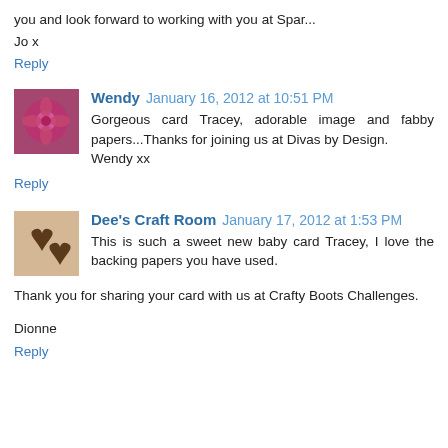you and look forward to working with you at Spar... Jo x
Reply
[Figure (photo): Avatar image of Wendy: pink flower photo]
Wendy  January 16, 2012 at 10:51 PM
Gorgeous card Tracey, adorable image and fabby papers...Thanks for joining us at Divas by Design.
Wendy xx
Reply
[Figure (photo): Avatar image of Dee's Craft Room: heart drawings]
Dee's Craft Room  January 17, 2012 at 1:53 PM
This is such a sweet new baby card Tracey, I love the backing papers you have used.
Thank you for sharing your card with us at Crafty Boots Challenges.
Dionne
Reply